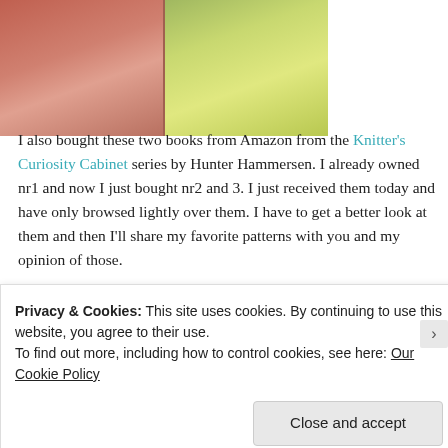[Figure (photo): Two photos of knitted socks side by side - left shows red/orange socks, right shows yellow/green socks on a light background]
I also bought these two books from Amazon from the Knitter's Curiosity Cabinet series by Hunter Hammersen. I already owned nr1 and now I just bought nr2 and 3. I just received them today and have only browsed lightly over them. I have to get a better look at them and then I'll share my favorite patterns with you and my opinion of those.
Advertisements
[Figure (screenshot): Advertisement banner: 'WORKS ON THE APP TOO!' on left, '$39.99 a year or $4.99 a month' on right, light blue gradient background]
Privacy & Cookies: This site uses cookies. By continuing to use this website, you agree to their use.
To find out more, including how to control cookies, see here: Our Cookie Policy
Close and accept